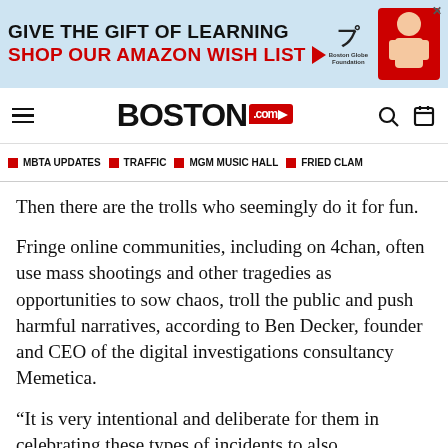[Figure (other): Advertisement banner: 'GIVE THE GIFT OF LEARNING / SHOP OUR AMAZON WISH LIST' with Boston Globe Foundation logo and illustrated figure]
BOSTON.com
MBTA UPDATES  TRAFFIC  MGM MUSIC HALL  FRIED CLAM
Then there are the trolls who seemingly do it for fun.
Fringe online communities, including on 4chan, often use mass shootings and other tragedies as opportunities to sow chaos, troll the public and push harmful narratives, according to Ben Decker, founder and CEO of the digital investigations consultancy Memetica.
“It is very intentional and deliberate for them in celebrating these types of incidents to also